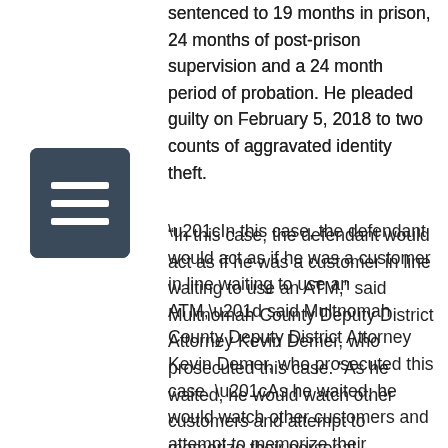sentenced to 19 months in prison, 24 months of post-prison supervision and a 24 month period of probation. He pleaded guilty on February 5, 2018 to two counts of aggravated identity theft.
[Figure (illustration): Dark blue/teal square icon with three horizontal white lines, resembling a menu or document icon]
“In this case, the defendant would act as if he was a customer in line waiting to use an ATM,” said Multnomah County Deputy District Attorney Kevin Demer, who prosecuted this case. “As he waited, he would watch other customers and attempt to memorize their personal identification numbers as they were entered into the keypad. Once the customer left the ATM, the defendant would quickly go up to the machine before the last session timed out and would enter the customer’s PIN, giving him essentially unlimited access to cash.”
The Portland Police Bureau worked closely with the financial industry to identify the ATM locations Lefco was targeting in northeast and downtown Portland. He was arrested on June 26, 2017 after detectives assigned to the Portland Police Bureau’s White Collar Crimes Unit conducted a surveillance